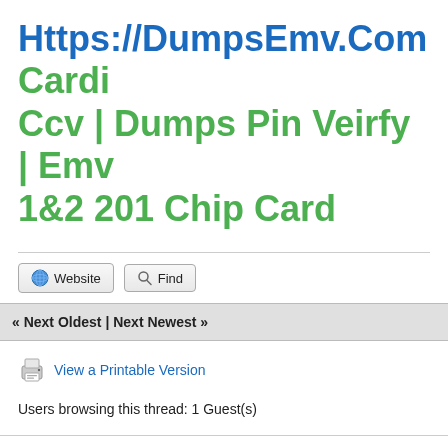Https://DumpsEmv.Com Cardi Ccv | Dumps Pin Veirfy | Emv 1&2 201 Chip Card
« Next Oldest | Next Newest »
View a Printable Version
Users browsing this thread: 1 Guest(s)
Forum Team   Contact Us   Discussion Point   Return to Top   Lite (Archive) Mo...
Powered By MyBB, © 2002-2022 MyBB Group.